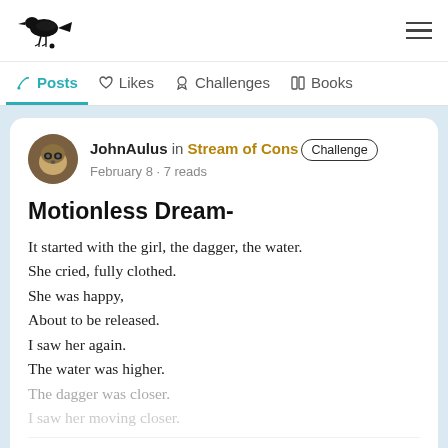Wattpad logo and navigation menu
Posts | Likes | Challenges | Books (navigation tabs)
JohnAulus in Stream of Cons... Challenge
February 8 · 7 reads
Motionless Dream-
It started with the girl, the dagger, the water.
She cried, fully clothed.
She was happy,
About to be released.
I saw her again.
The water was higher.
The dagger was closer.
[faded line]